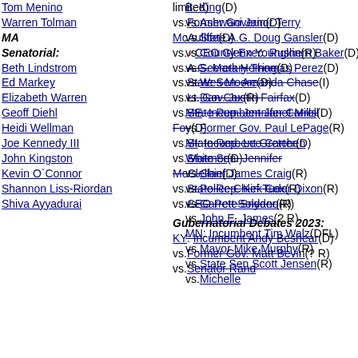Tom Menino
Warren Tolman
MA Senatorial:
Beth Lindstrom
Ed Markey
Elizabeth Warren
Geoff Diehl
Heidi Wellman
Joe Kennedy III
John Kingston
Kevin O`Connor
Shannon Liss-Riordan
Shiva Ayyadurai
limited) vs.Former Governor Terry McAuliffe(D) vs.✓CEO Glenn Youngkin(R) vs.A.G. Mark Herring(D) vs.State Sen. Amanda Chase(I) vs.Lt. Gov. Justin Fairfax(D) vs.State Rep. Jennifer Carroll Foy(D) vs.State Rep. Lee Carter(D) vs.State Sen. Jennifer McClellan(D) vs.State Rep. Kirk Cox(R) vs.CEO Pete Snyder(R)
Gubernatorial Debates 2023:
KY: Incumbent Andy Beshear(D) vs.Former Gov. Matt Bevin(? R) vs.Senator Rand
B. King(D) vs.Ashwani Jain(D) vs.State A.G. Doug Gansler(D) vs.County Exec. Rushern Baker(D) vs.Secretary Thomas Perez(D) vs.Wes Moore(D) vs.Dan Cox(R) ME: Incumbent Janet Mills(D) vs.Former Gov. Paul LePage(R) MI: Incumbent Gretchen Whitmer(D) vs.Chief James Craig(R) vs.Police Chief Tudor Dixon(R) vs.Garrett Soldano(R) vs.John E. James(? R) MN: Incumbent Tim Walz(DFL) vs.Mayor Mike Murphy(R) vs.State Sen.Scott Jensen(R) vs.Michelle